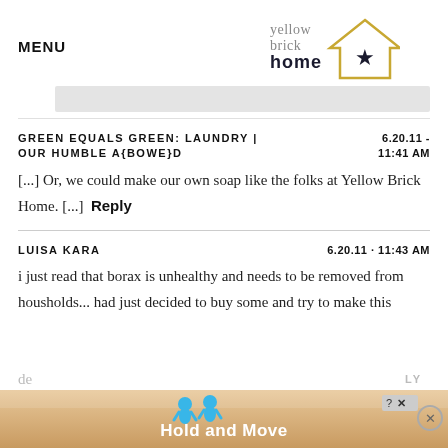MENU | Yellow Brick Home logo
[Figure (logo): Yellow Brick Home logo with house outline and star]
GREEN EQUALS GREEN: LAUNDRY | OUR HUMBLE A{BOWE}D    6.20.11 - 11:41 AM
[...] Or, we could make our own soap like the folks at Yellow Brick Home. [...]  Reply
LUISA KARA    6.20.11 · 11:43 AM
i just read that borax is unhealthy and needs to be removed from housholds... had just decided to buy some and try to make this de...  REPLY
[Figure (screenshot): Advertisement banner at bottom: Hold and Move with cartoon figures, close button and dismiss button]